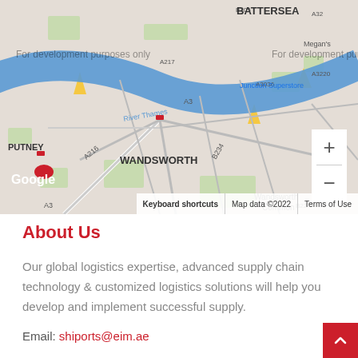[Figure (map): Google Maps screenshot showing Wandsworth, Putney, Battersea, River Thames area in London. Shows roads A3, A216, A234, B305, A3036, A3220, landmarks including Wandsworth Common, Clapham Junction Superstore. Map has zoom controls (+/-) on right side, Google logo bottom left, footer with Keyboard shortcuts, Map data ©2022, Terms of Use. Watermark: 'For development purposes only'.]
About Us
Our global logistics expertise, advanced supply chain technology & customized logistics solutions will help you develop and implement successful supply.
Email: shiports@eim.ae